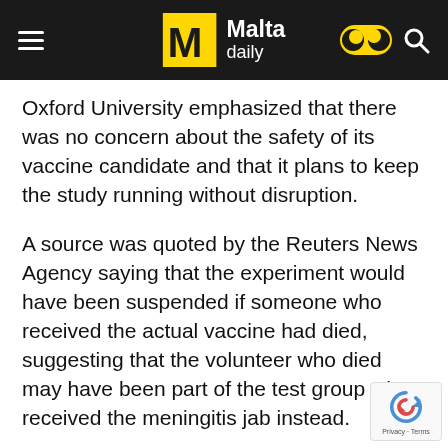Malta Daily
Oxford University emphasized that there was no concern about the safety of its vaccine candidate and that it plans to keep the study running without disruption.
A source was quoted by the Reuters News Agency saying that the experiment would have been suspended if someone who received the actual vaccine had died, suggesting that the volunteer who died may have been part of the test group who received the meningitis jab instead.